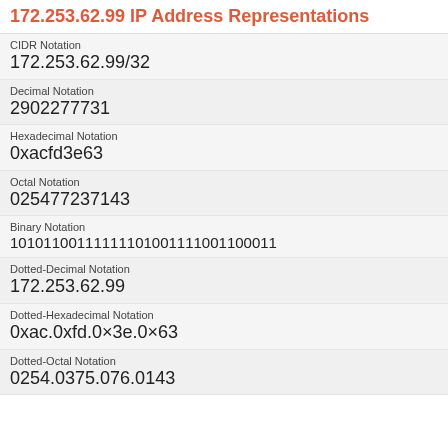172.253.62.99 IP Address Representations
| Notation | Value |
| --- | --- |
| CIDR Notation | 172.253.62.99/32 |
| Decimal Notation | 2902277731 |
| Hexadecimal Notation | 0xacfd3e63 |
| Octal Notation | 025477237143 |
| Binary Notation | 10101100111111101001111001100011 |
| Dotted-Decimal Notation | 172.253.62.99 |
| Dotted-Hexadecimal Notation | 0xac.0xfd.0x3e.0x63 |
| Dotted-Octal Notation | 0254.0375.076.0143 |